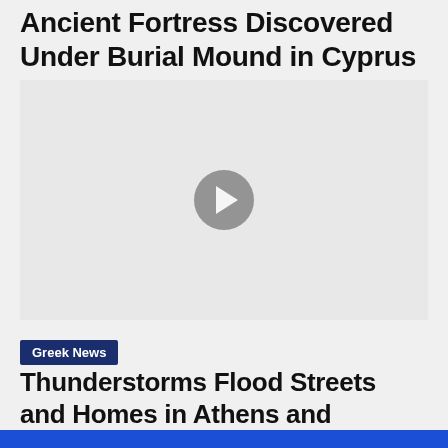Ancient Fortress Discovered Under Burial Mound in Cyprus
[Figure (other): Video player with gray background and circular play button in center]
Greek News
Thunderstorms Flood Streets and Homes in Athens and Northern Greece